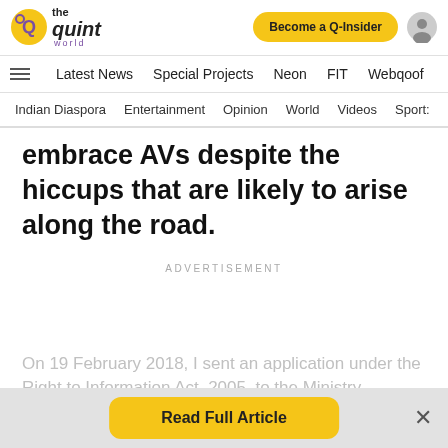the quint world | Become a Q-Insider
Latest News | Special Projects | Neon | FIT | Webqoof
Indian Diaspora | Entertainment | Opinion | World | Videos | Sports
embrace AVs despite the hiccups that are likely to arise along the road.
ADVERTISEMENT
On 19 February 2018, I sent an application under the Right to Information Act, 2005, to the Ministry
Read Full Article